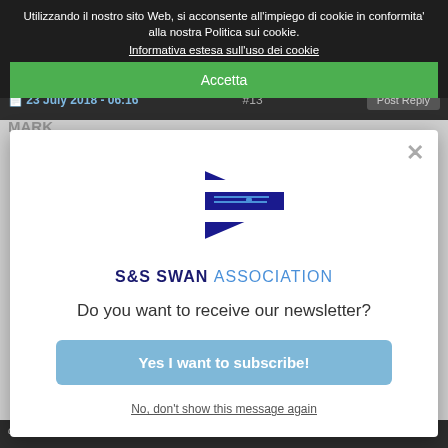Utilizzando il nostro sito Web, si acconsente all'impiego di cookie in conformita' alla nostra Politica sui cookie.
Informativa estesa sull'uso dei cookie
Accetta
23 July 2018 - 06:16
#13
Post Reply
MARK
[Figure (logo): S&S Swan Association pennant logo — a blue triangular flag with white cross and horizontal lines]
S&S SWAN ASSOCIATION
Do you want to receive our newsletter?
Yes I want to subscribe!
No, don't show this message again
drained so the alternator puts out its maximum while